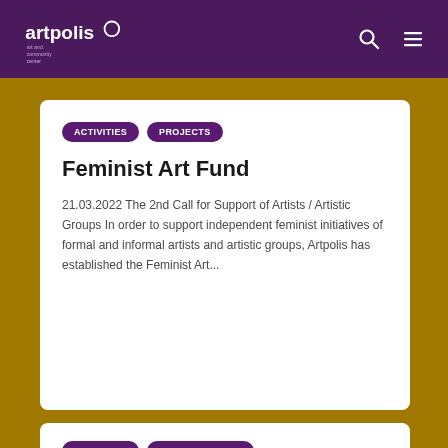artpolis
ACTIVITIES
PROJECTS
Feminist Art Fund
21.03.2022 The 2nd Call for Support of Artists / Artistic Groups In order to support independent feminist initiatives of formal and informal artists and artistic groups, Artpolis has established the Feminist Art...
ACTIVITIES
THEATER SHOWS